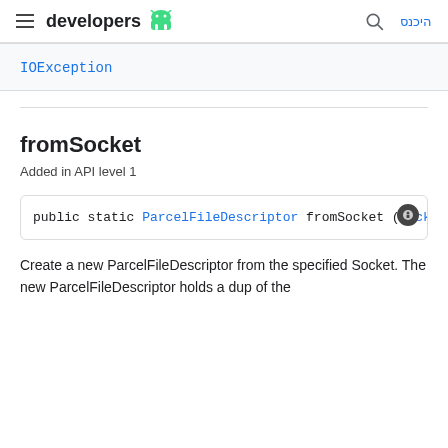developers
| IOException |
fromSocket
Added in API level 1
public static ParcelFileDescriptor fromSocket (Socke
Create a new ParcelFileDescriptor from the specified Socket. The new ParcelFileDescriptor holds a dup of the